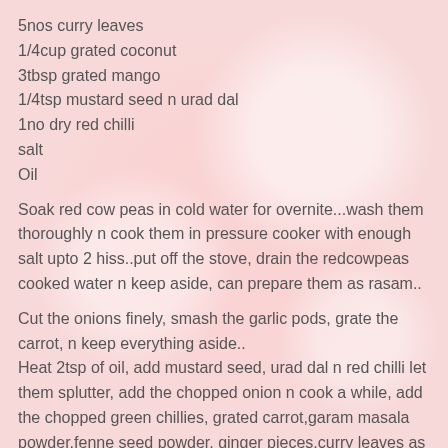5nos curry leaves
1/4cup grated coconut
3tbsp grated mango
1/4tsp mustard seed n urad dal
1no dry red chilli
salt
Oil
Soak red cow peas in cold water for overnite...wash them thoroughly n cook them in pressure cooker with enough salt upto 2 hiss..put off the stove, drain the redcowpeas cooked water n keep aside, can prepare them as rasam..
Cut the onions finely, smash the garlic pods, grate the carrot, n keep everything aside..
Heat 2tsp of oil, add mustard seed, urad dal n red chilli let them splutter, add the chopped onion n cook a while, add the chopped green chillies, grated carrot,garam masala powder,fenne seed powder, ginger pieces,curry leaves as well as smashed garlic pods, cook everything in simmer until the spices n the veggies get well mixed...